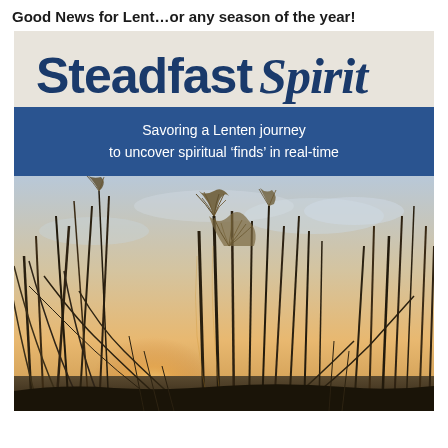Good News for Lent…or any season of the year!
Steadfast Spirit
Savoring a Lenten journey to uncover spiritual 'finds' in real-time
[Figure (photo): Photograph of tall ornamental grasses or reeds silhouetted against a warm golden sunset sky with soft clouds]